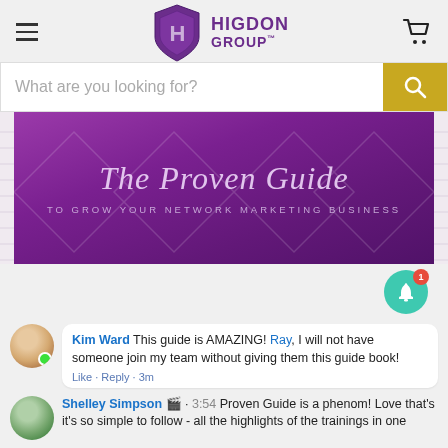Higdon Group
[Figure (screenshot): Search bar with placeholder text 'What are you looking for?' and a gold/yellow search button with magnifying glass icon]
[Figure (photo): The Proven Guide book cover - purple background with title 'The Proven Guide TO GROW YOUR NETWORK MARKETING BUSINESS']
[Figure (infographic): Green notification bell icon with red badge showing number 1]
Kim Ward This guide is AMAZING! Ray, I will not have someone join my team without giving them this guide book!
Like · Reply · 3m
Shelley Simpson 🎬 · 3:54 Proven Guide is a phenom! Love that's it's so simple to follow - all the highlights of the trainings in one